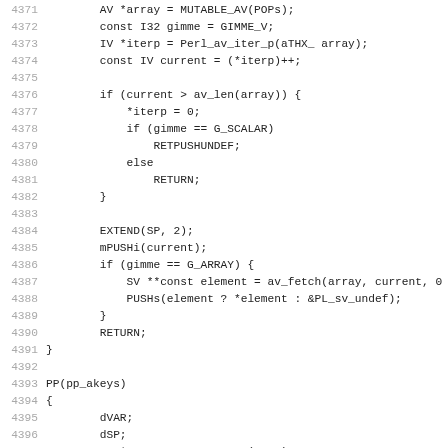Code listing lines 4371-4402, C source code for Perl opcodes pp_aeach and pp_akeys
[Figure (screenshot): Source code listing showing lines 4371-4402 of a C file implementing Perl array iteration opcodes. Lines include pp_aeach and pp_akeys function bodies with variable declarations, iterator logic, conditionals and return statements.]